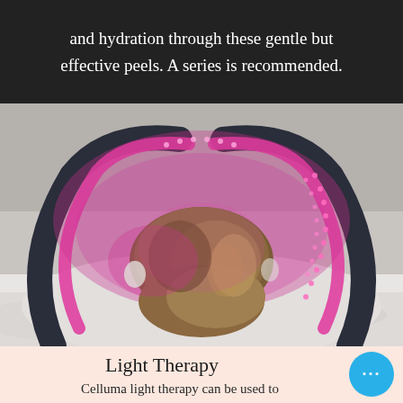and hydration through these gentle but effective peels. A series is recommended.
[Figure (photo): Person lying down receiving LED light therapy treatment with a curved arch device emitting pink/magenta LED lights over their head]
Light Therapy
Celluma light therapy can be used to